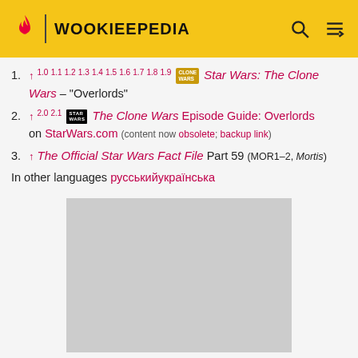WOOKIEEPEDIA
1. ↑ 1.0 1.1 1.2 1.3 1.4 1.5 1.6 1.7 1.8 1.9 [Clone Wars badge] Star Wars: The Clone Wars – "Overlords"
2. ↑ 2.0 2.1 [Star Wars badge] The Clone Wars Episode Guide: Overlords on StarWars.com (content now obsolete; backup link)
3. ↑ The Official Star Wars Fact File Part 59 (MOR1–2, Mortis)
In other languages русскийукраїнська
[Figure (photo): Gray placeholder image area]